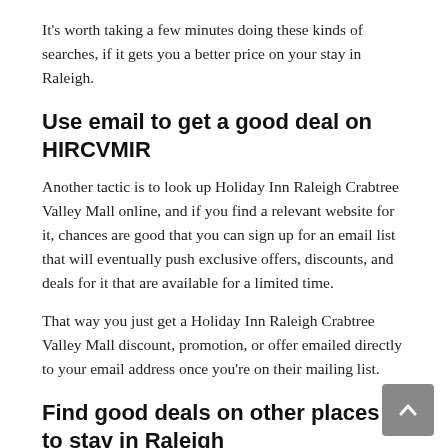It's worth taking a few minutes doing these kinds of searches, if it gets you a better price on your stay in Raleigh.
Use email to get a good deal on HIRCVMIR
Another tactic is to look up Holiday Inn Raleigh Crabtree Valley Mall online, and if you find a relevant website for it, chances are good that you can sign up for an email list that will eventually push exclusive offers, discounts, and deals for it that are available for a limited time.
That way you just get a Holiday Inn Raleigh Crabtree Valley Mall discount, promotion, or offer emailed directly to your email address once you're on their mailing list.
Find good deals on other places to stay in Raleigh
The worst case scenario is that after all this searching,